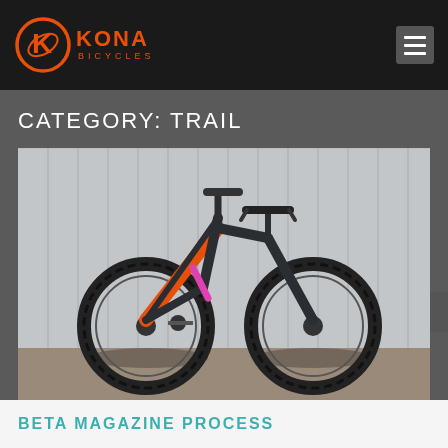[Figure (logo): Kona Bicycles logo — orange circular K emblem with orange KONA text and BICYCLES subtitle, on dark background]
Kona Bicycles navigation header with logo and hamburger menu
CATEGORY: TRAIL
[Figure (photo): A Kona full-suspension mountain bike (trail bike) with dark gray/black frame with orange accent stripe on top tube, pink rear shock, and large knobbly tires, photographed against a corrugated metal wall background]
BETA MAGAZINE PROCESS